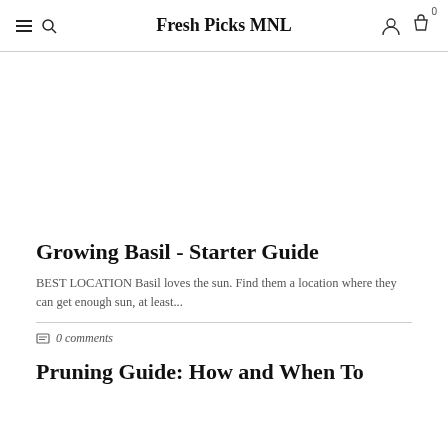Fresh Picks MNL
[Figure (photo): Blank white image placeholder area for article image]
Growing Basil - Starter Guide
BEST LOCATION Basil loves the sun. Find them a location where they can get enough sun, at least...
0 comments
Pruning Guide: How and When To